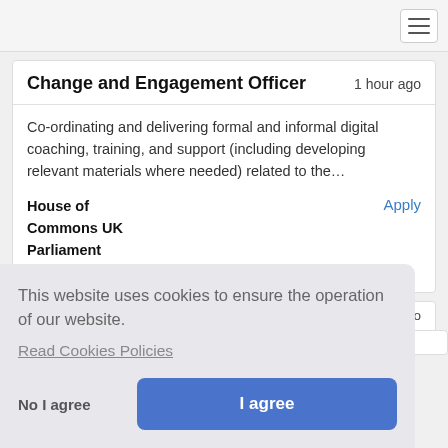Change and Engagement Officer
1 hour ago
Co-ordinating and delivering formal and informal digital coaching, training, and support (including developing relevant materials where needed) related to the…
House of Commons UK Parliament
London
Apply
This website uses cookies to ensure the operation of our website.
Read Cookies Policies
No I agree
I agree